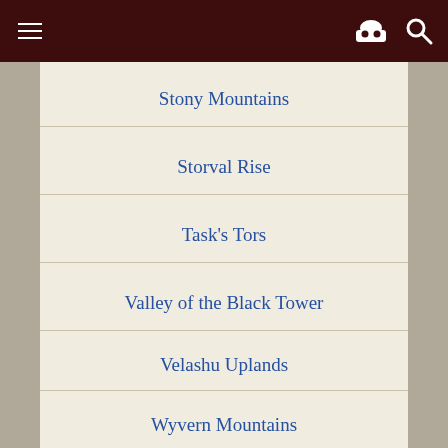Navigation header with menu, hat/incognito icon, and search icon
Stony Mountains
Storval Rise
Task's Tors
Valley of the Black Tower
Velashu Uplands
Wyvern Mountains
| Section | Action |
| --- | --- |
| Forests | [show] |
| Rivers, Lakes, & Bodies of Water | [show] |
| Wetlands | [show] |
| Plains & Plateaus | [show] |